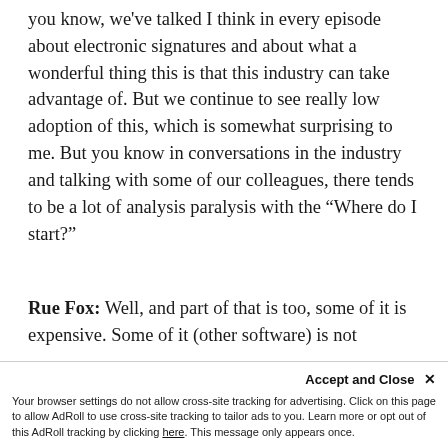you know, we've talked I think in every episode about electronic signatures and about what a wonderful thing this is that this industry can take advantage of. But we continue to see really low adoption of this, which is somewhat surprising to me. But you know in conversations in the industry and talking with some of our colleagues, there tends to be a lot of analysis paralysis with the “Where do I start?”
Rue Fox: Well, and part of that is too, some of it is expensive. Some of it (other software) is not really cost-effective. I happen to know...
Accept and Close × Your browser settings do not allow cross-site tracking for advertising. Click on this page to allow AdRoll to use cross-site tracking to tailor ads to you. Learn more or opt out of this AdRoll tracking by clicking here. This message only appears once.